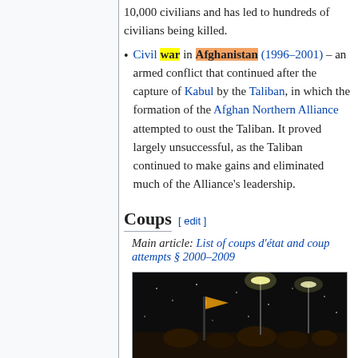10,000 civilians and has led to hundreds of civilians being killed.
Civil war in Afghanistan (1996–2001) – an armed conflict that continued after the capture of Kabul by the Taliban, in which the formation of the Afghan Northern Alliance attempted to oust the Taliban. It proved largely unsuccessful, as the Taliban continued to make gains and eliminated much of the Alliance's leadership.
Coups
Main article: List of coups d'état and coup attempts § 2000–2009
[Figure (photo): Night-time photograph showing soldiers or armed group with a flag, street lights visible, dark background with snow or particles in the air]